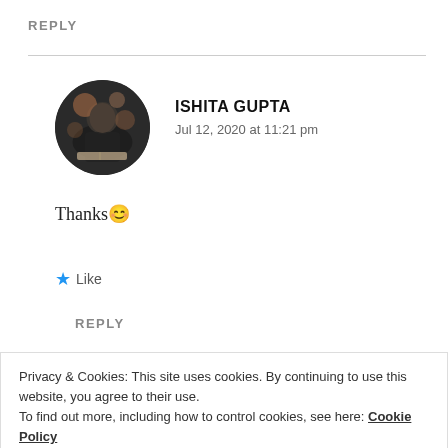REPLY
[Figure (photo): Circular profile photo of Ishita Gupta, showing a person with a book and bokeh background]
ISHITA GUPTA
Jul 12, 2020 at 11:21 pm
Thanks 😊
★ Like
REPLY
Privacy & Cookies: This site uses cookies. By continuing to use this website, you agree to their use.
To find out more, including how to control cookies, see here: Cookie Policy
Close and accept